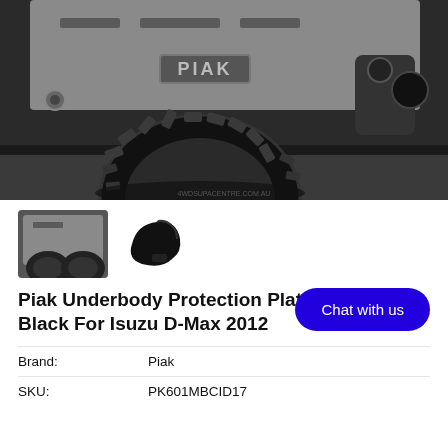[Figure (photo): Underside of a truck/4WD vehicle showing underbody protection plate branded PIAK, with large off-road tyre visible. Black and white photo.]
[Figure (photo): Thumbnail of the underbody protection plate from below the vehicle.]
[Figure (photo): Thumbnail of a small black bracket/mount component.]
Piak Underbody Protection Plate In Matte Black For Isuzu D-Max 2012
| Brand: | Piak |
| SKU: | PK601MBCID17 |